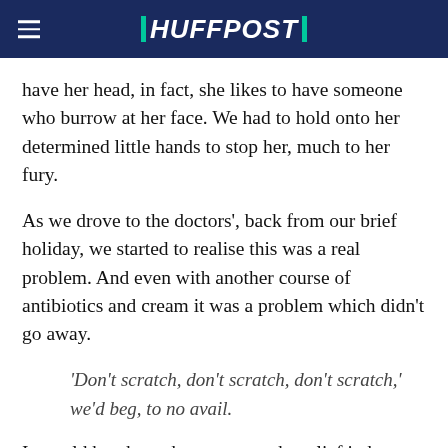HUFFPOST
have her head, in fact, she likes to have someone who burrow at her face. We had to hold onto her determined little hands to stop her, much to her fury.
As we drove to the doctors', back from our brief holiday, we started to realise this was a real problem. And even with another course of antibiotics and cream it was a problem which didn't go away.
'Don't scratch, don't scratch, don't scratch,' we'd beg, to no avail.
It would break our hearts to see the relief in her eyes if she ever managed to get a sneaky (constantly trimmed) fingernail to a place where the eczema